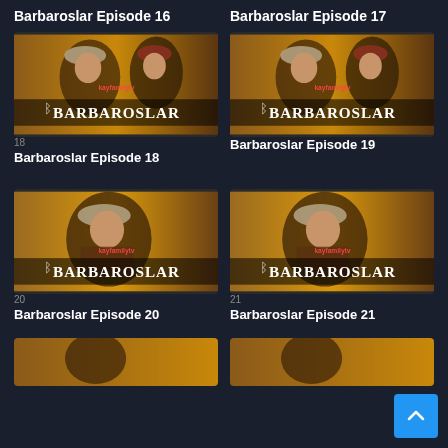Barbaroslar Episode 16
Barbaroslar Episode 17
[Figure (photo): Barbaroslar Episode 18 thumbnail showing two men in historical Ottoman/pirate costume with BARBAROSLAR title]
[Figure (photo): Barbaroslar Episode 19 thumbnail showing two men in historical Ottoman/pirate costume with BARBAROSLAR title]
18
Barbaroslar Episode 18
Barbaroslar Episode 19
[Figure (photo): Barbaroslar Episode 20 thumbnail showing man in historical Ottoman/pirate costume with BARBAROSLAR title]
[Figure (photo): Barbaroslar Episode 21 thumbnail showing man in historical Ottoman/pirate costume with BARBAROSLAR title]
20
Barbaroslar Episode 20
21
Barbaroslar Episode 21
[Figure (photo): Partial thumbnail at bottom left]
[Figure (photo): Partial thumbnail at bottom right]